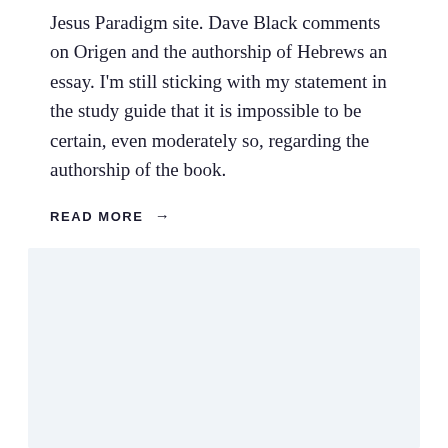Jesus Paradigm site. Dave Black comments on Origen and the authorship of Hebrews an essay. I'm still sticking with my statement in the study guide that it is impossible to be certain, even moderately so, regarding the authorship of the book.
READ MORE →